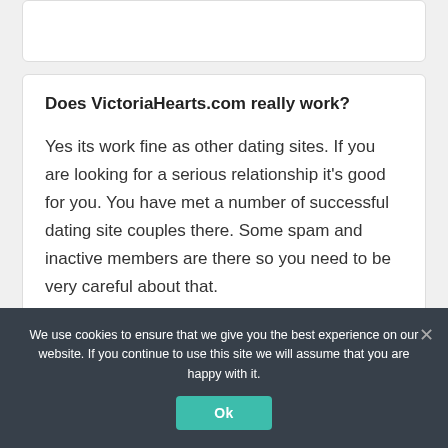[Figure (screenshot): Top white card, partially visible, empty content area]
Does VictoriaHearts.com really work?
Yes its work fine as other dating sites. If you are looking for a serious relationship it's good for you. You have met a number of successful dating site couples there. Some spam and inactive members are there so you need to be very careful about that.
We use cookies to ensure that we give you the best experience on our website. If you continue to use this site we will assume that you are happy with it.